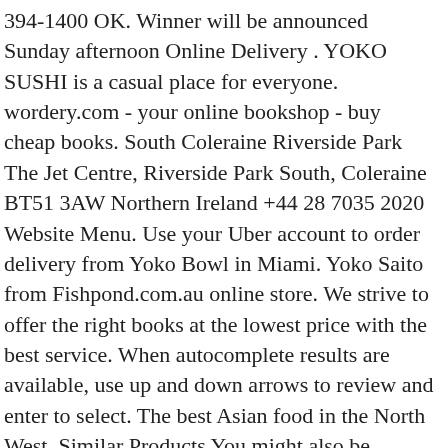394-1400 OK. Winner will be announced Sunday afternoon Online Delivery . YOKO SUSHI is a casual place for everyone. wordery.com - your online bookshop - buy cheap books. South Coleraine Riverside Park The Jet Centre, Riverside Park South, Coleraine BT51 3AW Northern Ireland +44 28 7035 2020 Website Menu. Use your Uber account to order delivery from Yoko Bowl in Miami. Yoko Saito from Fishpond.com.au online store. We strive to offer the right books at the lowest price with the best service. When autocomplete results are available, use up and down arrows to review and enter to select. The best Asian food in the North West. Similar Products You might also be interested in... Sega Extension Table By Berkowitz Buy Online $ 869 $ 699. Find Yoko At Jet Centre in Coleraine, BT51. All you have to do is tell us your favourite Yoko dish and tag a friend who you'd be teeing off with 🏌. Browse the menu, view popular items,